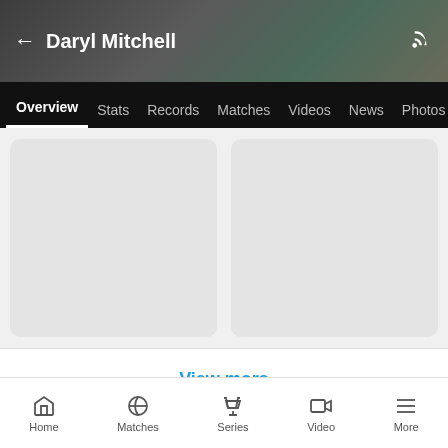Daryl Mitchell
Overview  Stats  Records  Matches  Videos  News  Photos
[Figure (screenshot): Two placeholder gray content cards side by side]
View more
MOST VIEWED PLAYERS
Home  Matches  Series  Video  More